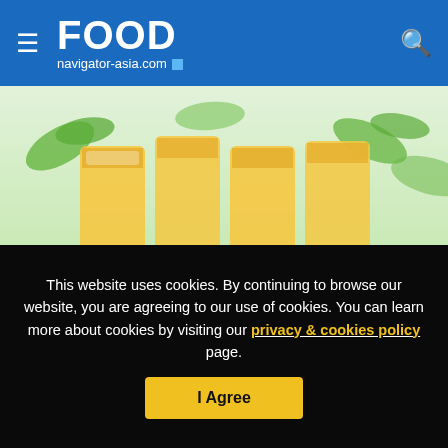FOOD navigator-asia.com
[Figure (photo): Product image showing plant-based food packages with green leaf decorations on a light green background]
From zero to US$30m: Thai Union’s high hopes for plant-based OMG Meat over next three years
This website uses cookies. By continuing to browse our website, you are agreeing to our use of cookies. You can learn more about cookies by visiting our privacy & cookies policy page.